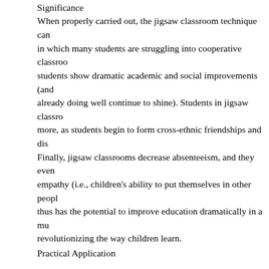Significance
When properly carried out, the jigsaw classroom technique can in which many students are struggling into cooperative classrooms students show dramatic academic and social improvements (and already doing well continue to shine). Students in jigsaw classrooms more, as students begin to form cross-ethnic friendships and dis Finally, jigsaw classrooms decrease absenteeism, and they even empathy (i.e., children's ability to put themselves in other people thus has the potential to improve education dramatically in a mu revolutionizing the way children learn.
Practical Application
Since its demonstration in the 1970s, the jigsaw classroom has b settings across the nation, ranging from the elementary schools school and college classrooms (e.g., see Aronson, Blaney, Steph Perkins & Saris, 2001; Slavin, 1980). Researchers know that the because it has been carefully studied using solid research techni students in different classrooms who are covering the same mat receive either traditional instruction (no intervention) or instruct